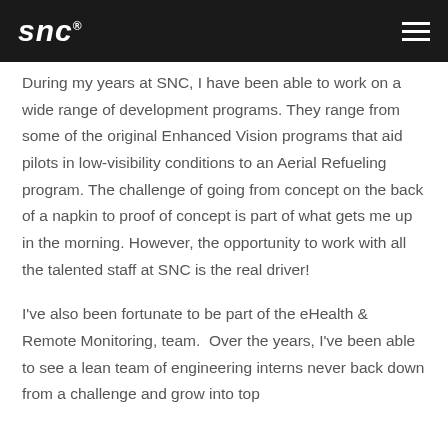SNC
During my years at SNC, I have been able to work on a wide range of development programs. They range from some of the original Enhanced Vision programs that aid pilots in low-visibility conditions to an Aerial Refueling program. The challenge of going from concept on the back of a napkin to proof of concept is part of what gets me up in the morning. However, the opportunity to work with all the talented staff at SNC is the real driver!
I've also been fortunate to be part of the eHealth & Remote Monitoring, team.  Over the years, I've been able to see a lean team of engineering interns never back down from a challenge and grow into top